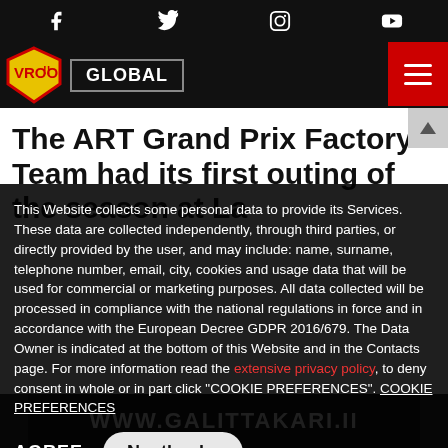Social icons: Facebook, Twitter, Instagram, YouTube
VROO!! GLOBAL navigation bar with hamburger menu
The ART Grand Prix Factory Team had its first outing of the season at La
This Website collects some personal data to provide its Services. These data are collected independently, through third parties, or directly provided by the user, and may include: name, surname, telephone number, email, city, cookies and usage data that will be used for commercial or marketing purposes. All data collected will be processed in compliance with the national regulations in force and in accordance with the European Decree GDPR 2016/679. The Data Owner is indicated at the bottom of this Website and in the Contacts page. For more information read the extensive privacy policy, to deny consent in whole or in part click "COOKIE PREFERENCES". COOKIE PREFERENCES
AGREE   No, thanks
WWW.GALITTAKARI.II